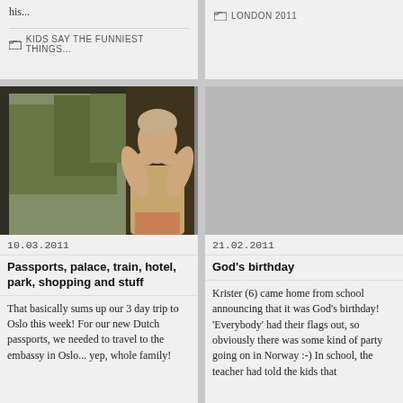his...
KIDS SAY THE FUNNIEST THINGS...
LONDON 2011
[Figure (photo): Person sitting by a train window with trees visible outside, reflecting in the window glass]
[Figure (photo): Gray placeholder image]
10.03.2011
21.02.2011
Passports, palace, train, hotel, park, shopping and stuff
God's birthday
That basically sums up our 3 day trip to Oslo this week! For our new Dutch passports, we needed to travel to the embassy in Oslo... yep, whole family!
Krister (6) came home from school announcing that it was God's birthday! 'Everybody' had their flags out, so obviously there was some kind of party going on in Norway :-) In school, the teacher had told the kids that